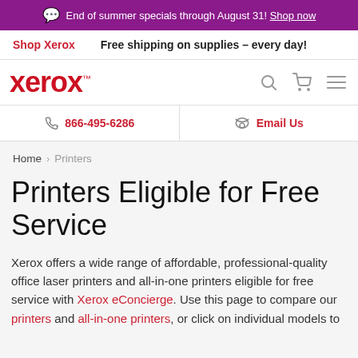End of summer specials through August 31! Shop now
Shop Xerox   Free shipping on supplies – every day!
[Figure (logo): Xerox logo in red with navigation icons (search, cart, menu)]
866-495-6286   Email Us
Home > Printers
Printers Eligible for Free Service
Xerox offers a wide range of affordable, professional-quality office laser printers and all-in-one printers eligible for free service with Xerox eConcierge. Use this page to compare our printers and all-in-one printers, or click on individual models to